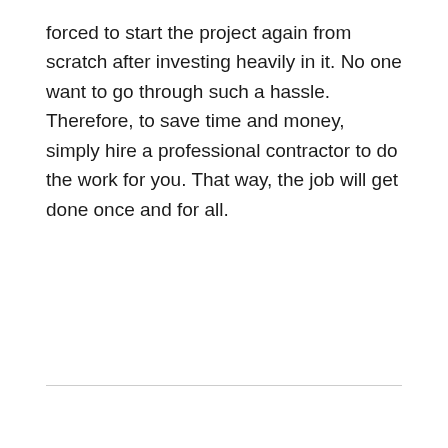forced to start the project again from scratch after investing heavily in it. No one want to go through such a hassle. Therefore, to save time and money, simply hire a professional contractor to do the work for you. That way, the job will get done once and for all.